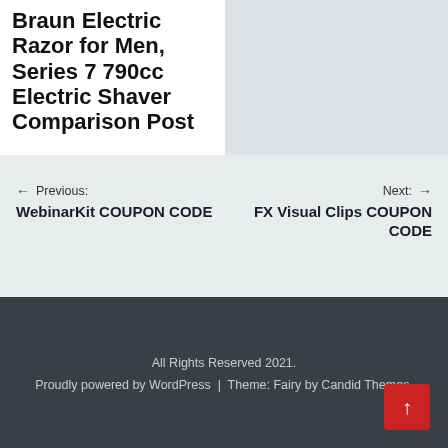Braun Electric Razor for Men, Series 7 790cc Electric Shaver Comparison Post
← Previous: WebinarKit COUPON CODE
Next: → FX Visual Clips COUPON CODE
All Rights Reserved 2021. Proudly powered by WordPress | Theme: Fairy by Candid Themes.